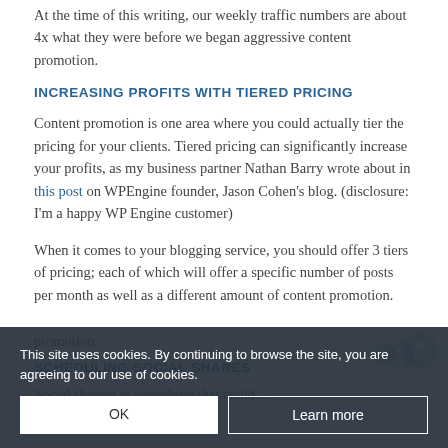At the time of this writing, our weekly traffic numbers are about 4x what they were before we began aggressive content promotion.
INCREASING PROFITS WITH TIERED PRICING
Content promotion is one area where you could actually tier the pricing for your clients. Tiered pricing can significantly increase your profits, as my business partner Nathan Barry wrote about in this post on WPEngine founder, Jason Cohen's blog. (disclosure: I'm a happy WP Engine customer)
When it comes to your blogging service, you should offer 3 tiers of pricing; each of which will offer a specific number of posts per month as well as a different amount of content promotion.
SCHEDULING SOCIAL SHARES
Social sharing is something that could...
This site uses cookies. By continuing to browse the site, you are agreeing to our use of cookies.